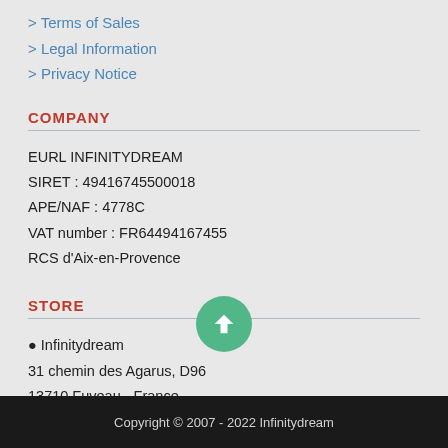> Terms of Sales
> Legal Information
> Privacy Notice
COMPANY
EURL INFINITYDREAM
SIRET : 49416745500018
APE/NAF : 4778C
VAT number : FR64494167455
RCS d'Aix-en-Provence
STORE
Infinitydream
31 chemin des Agarus, D96
13710 Fuveau - France
+33 (0)664508415
contact@infinitydream.com
Copyright © 2007 - 2022 Infinitydream